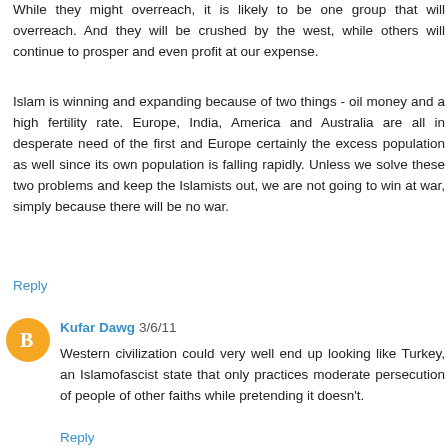While they might overreach, it is likely to be one group that will overreach. And they will be crushed by the west, while others will continue to prosper and even profit at our expense.
Islam is winning and expanding because of two things - oil money and a high fertility rate. Europe, India, America and Australia are all in desperate need of the first and Europe certainly the excess population as well since its own population is falling rapidly. Unless we solve these two problems and keep the Islamists out, we are not going to win at war, simply because there will be no war.
Reply
Kufar Dawg 3/6/11
Western civilization could very well end up looking like Turkey, an Islamofascist state that only practices moderate persecution of people of other faiths while pretending it doesn't.
Reply